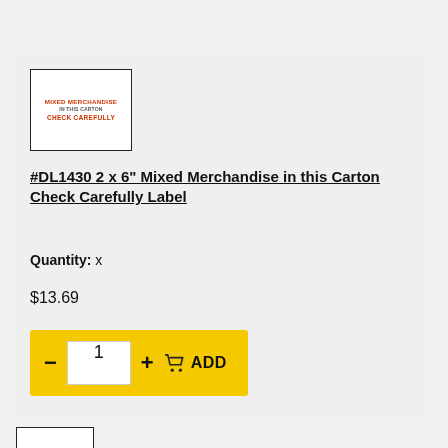[Figure (photo): Product label image showing a white box with red text reading 'MIXED MERCHANDISE IN THIS CARTON CHECK CAREFULLY']
#DL1430 2 x 6" Mixed Merchandise in this Carton Check Carefully Label
Quantity: x
$13.69